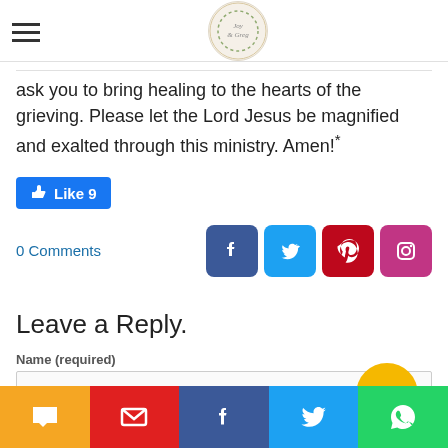Joy & Greg blog header with hamburger menu and logo
ask you to bring healing to the hearts of the grieving. Please let the Lord Jesus be magnified and exalted through this ministry. Amen!*
[Figure (other): Facebook Like button showing 9 likes]
0 Comments
[Figure (other): Social share icons: Facebook, Twitter, Pinterest, Instagram]
Leave a Reply.
Name (required)
[Figure (other): Scroll to top button - gold circular button with upward chevron]
Email (not published)
[Figure (other): Bottom share bar: chat, email, Facebook, Twitter, WhatsApp]